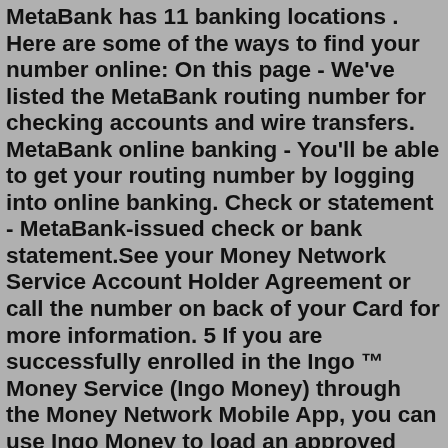MetaBank has 11 banking locations . Here are some of the ways to find your number online: On this page - We've listed the MetaBank routing number for checking accounts and wire transfers. MetaBank online banking - You'll be able to get your routing number by logging into online banking. Check or statement - MetaBank-issued check or bank statement.See your Money Network Service Account Holder Agreement or call the number on back of your Card for more information. 5 If you are successfully enrolled in the Ingo ™ Money Service (Ingo Money) through the Money Network Mobile App, you can use Ingo Money to load an approved check into your Money Network account net of any applicable Ingo Fees.Metabank Account Number Length LoginAsk is here to help you access Metabank Account Number Length quickly and handle each specific case you encounter. Furthermore, you can find the “Troubleshooting Login Issues” section which can answer your unresolved problems and equip you with a lot of relevant information. Wells Fargo Routing